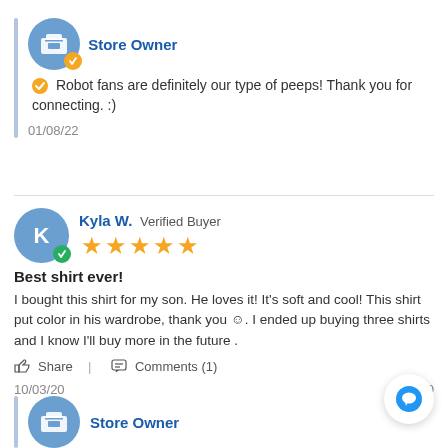Store Owner
Robot fans are definitely our type of peeps! Thank you for connecting. :)
01/08/22
Kyla W. Verified Buyer
Best shirt ever!
I bought this shirt for my son. He loves it! It's soft and cool! This shirt put color in his wardrobe, thank you ☺. I ended up buying three shirts and I know I'll buy more in the future .
Share | Comments (1)
10/03/20
Store Owner